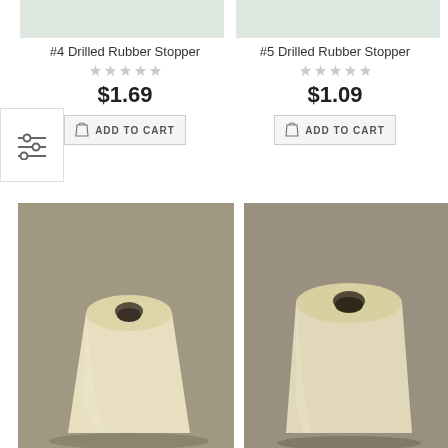[Figure (photo): Partial top image of #4 Drilled Rubber Stopper product (cropped, light gray/white background)]
[Figure (photo): Partial top image of #5 Drilled Rubber Stopper product (cropped, light gray/white background)]
#4 Drilled Rubber Stopper
#5 Drilled Rubber Stopper
$1.69
$1.09
ADD TO CART
ADD TO CART
[Figure (photo): Cream/tan colored drilled rubber stopper #4, tapered shape, viewed from slightly above, hole visible on top, on gray background]
[Figure (photo): Cream/tan colored drilled rubber stopper #5, more cylindrical shape, viewed from slightly above, hole visible on top, on gray background]